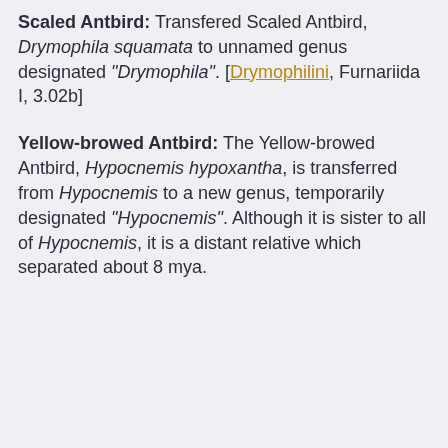Scaled Antbird: Transfered Scaled Antbird, Drymophila squamata to unnamed genus designated "Drymophila". [Drymophilini, Furnariida I, 3.02b]
Yellow-browed Antbird: The Yellow-browed Antbird, Hypocnemis hypoxantha, is transferred from Hypocnemis to a new genus, temporarily designated "Hypocnemis". Although it is sister to all of Hypocnemis, it is a distant relative which separated about 8 mya.